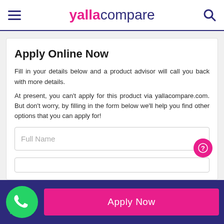yallacompare
Apply Online Now
Fill in your details below and a product advisor will call you back with more details.
At present, you can't apply for this product via yallacompare.com. But don't worry, by filling in the form below we'll help you find other options that you can apply for!
Apply Now